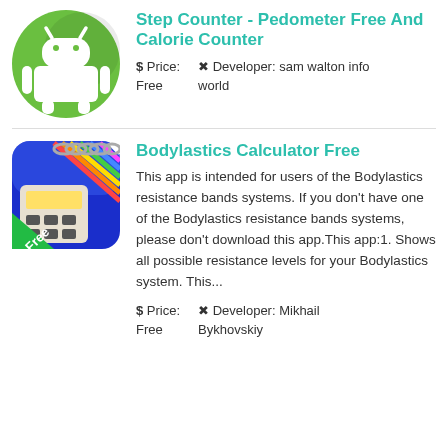[Figure (logo): Android robot logo on green circle background]
Step Counter - Pedometer Free And Calorie Counter
$ Price: Free   ✕ Developer: sam walton info world
[Figure (logo): Bodylastics Calculator app icon with colorful resistance bands and calculator on blue background, Free label]
Bodylastics Calculator Free
This app is intended for users of the Bodylastics resistance bands systems. If you don't have one of the Bodylastics resistance bands systems, please don't download this app.This app:1. Shows all possible resistance levels for your Bodylastics system. This...
$ Price: Free   ✕ Developer: Mikhail Bykhovskiy